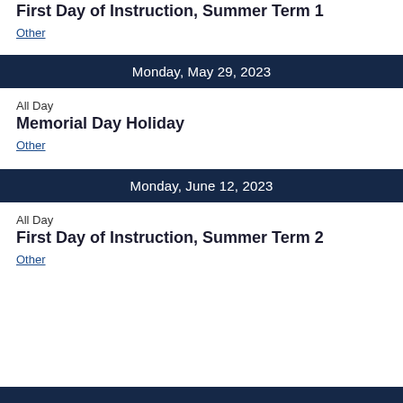First Day of Instruction, Summer Term 1
Other
Monday, May 29, 2023
All Day
Memorial Day Holiday
Other
Monday, June 12, 2023
All Day
First Day of Instruction, Summer Term 2
Other